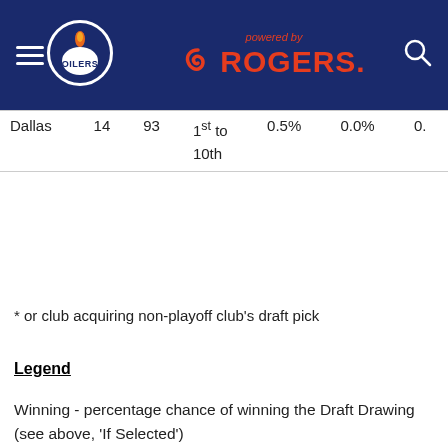Edmonton Oilers — powered by Rogers
| Team | Rank | Points | If Selected | Winning | Getting 1st | Dropping |
| --- | --- | --- | --- | --- | --- | --- |
| Dallas | 14 | 93 | 1st to 10th | 0.5% | 0.0% | 0. |
* or club acquiring non-playoff club's draft pick
Legend
Winning - percentage chance of winning the Draft Drawing (see above, 'If Selected')
Getting 1st - percentage chance of being awarded the first overall pick as a result of the Draft Drawing
Dropping - percentage chance of moving down in the